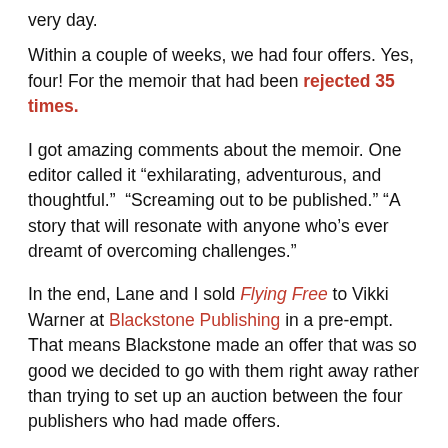very day.
Within a couple of weeks, we had four offers. Yes, four! For the memoir that had been rejected 35 times.
I got amazing comments about the memoir. One editor called it “exhilarating, adventurous, and thoughtful.”  “Screaming out to be published.” “A story that will resonate with anyone who’s ever dreamt of overcoming challenges.”
In the end, Lane and I sold Flying Free to Vikki Warner at Blackstone Publishing in a pre-empt. That means Blackstone made an offer that was so good we decided to go with them right away rather than trying to set up an auction between the four publishers who had made offers.
Wow.